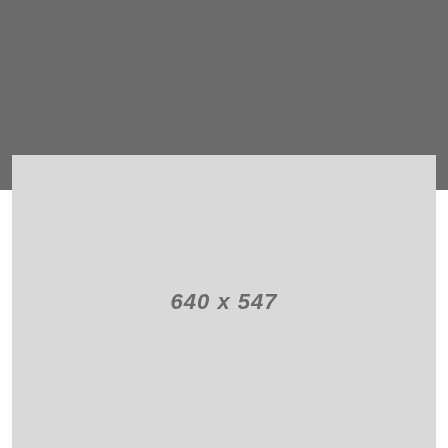[Figure (other): Gray header bar at top of page]
[Figure (other): Light gray image placeholder showing dimensions 640 x 547]